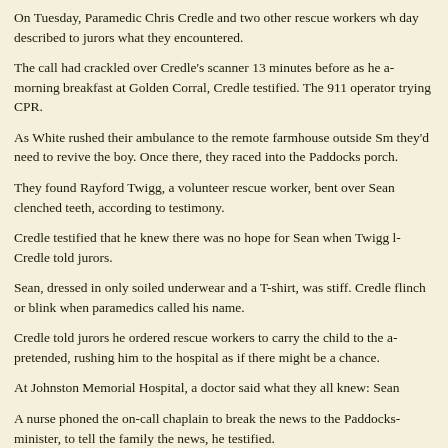On Tuesday, Paramedic Chris Credle and two other rescue workers wh- day described to jurors what they encountered.
The call had crackled over Credle's scanner 13 minutes before as he a- morning breakfast at Golden Corral, Credle testified. The 911 operator trying CPR.
As White rushed their ambulance to the remote farmhouse outside Sm- they'd need to revive the boy. Once there, they raced into the Paddocks porch.
They found Rayford Twigg, a volunteer rescue worker, bent over Sean clenched teeth, according to testimony.
Credle testified that he knew there was no hope for Sean when Twigg l- Credle told jurors.
Sean, dressed in only soiled underwear and a T-shirt, was stiff. Credle flinch or blink when paramedics called his name.
Credle told jurors he ordered rescue workers to carry the child to the a- pretended, rushing him to the hospital as if there might be a chance.
At Johnston Memorial Hospital, a doctor said what they all knew: Sean
A nurse phoned the on-call chaplain to break the news to the Paddocks minister, to tell the family the news, he testified.